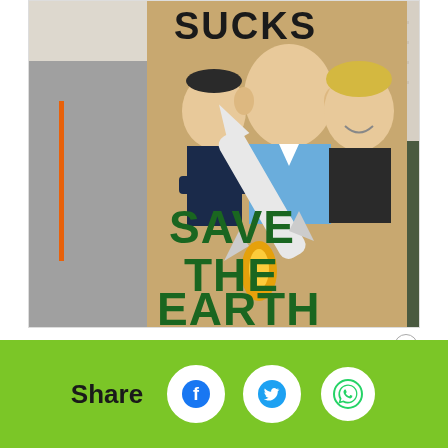[Figure (photo): Protest sign showing caricatures of billionaires with a rocket and text reading 'SUCKS' at top and 'SAVE THE EARTH' at bottom, held by a person outdoors on a street.]
4:58 PM · Nov 6, 2021
♥ 59   Reply   Copy link
Share